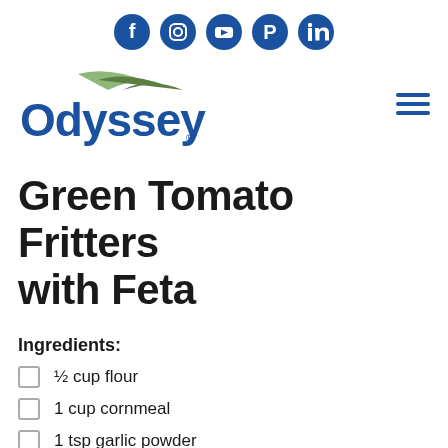Social media icons: Facebook, Instagram, YouTube, Pinterest, LinkedIn
[Figure (logo): Odyssey brand logo with green swoosh marks above the word Odyssey in blue]
Green Tomato Fritters with Feta
Ingredients:
½ cup flour
1 cup cornmeal
1 tsp garlic powder
1 tsp salt